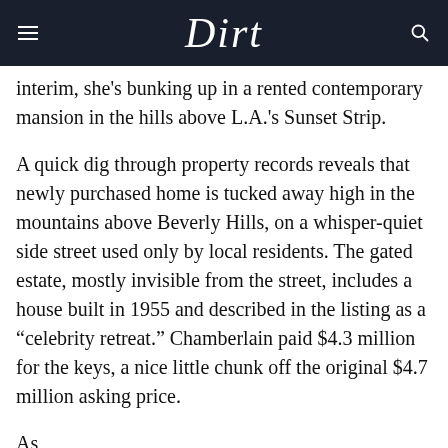Dirt
interim, she's bunking up in a rented contemporary mansion in the hills above L.A.'s Sunset Strip.
A quick dig through property records reveals that newly purchased home is tucked away high in the mountains above Beverly Hills, on a whisper-quiet side street used only by local residents. The gated estate, mostly invisible from the street, includes a house built in 1955 and described in the listing as a “celebrity retreat.” Chamberlain paid $4.3 million for the keys, a nice little chunk off the original $4.7 million asking price.
As the page ends here, more text continues below...